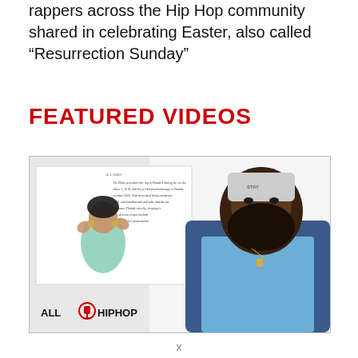rappers across the Hip Hop community shared in celebrating Easter, also called “Resurrection Sunday”
FEATURED VIDEOS
[Figure (photo): Video thumbnail showing AllHipHop branded content. On the left, a woman with hands raised near her face in a surprised expression is overlaid on a legal document. On the right, a bearded man in a denim jacket and beanie hat looks upward. The AllHipHop logo is visible in the bottom left corner.]
x